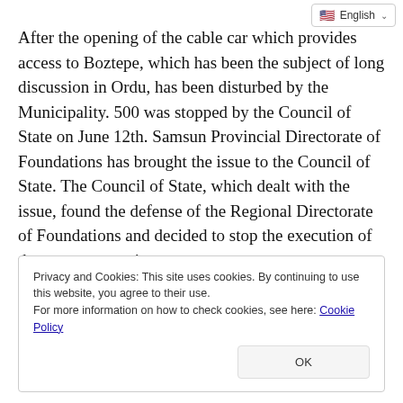English
After the opening of the cable car which provides access to Boztepe, which has been the subject of long discussion in Ordu, has been disturbed by the Municipality. 500 was stopped by the Council of State on June 12th. Samsun Provincial Directorate of Foundations has brought the issue to the Council of State. The Council of State, which dealt with the issue, found the defense of the Regional Directorate of Foundations and decided to stop the execution of the ropeway service.
Privacy and Cookies: This site uses cookies. By continuing to use this website, you agree to their use.
For more information on how to check cookies, see here: Cookie Policy